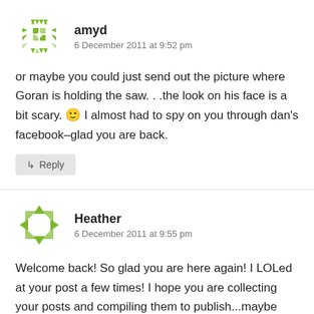[Figure (illustration): Green geometric avatar icon for user amyd]
amyd
6 December 2011 at 9:52 pm
or maybe you could just send out the picture where Goran is holding the saw. . .the look on his face is a bit scary. 🙂 I almost had to spy on you through dan's facebook–glad you are back.
↳ Reply
[Figure (illustration): Green geometric ring/circle avatar icon for user Heather]
Heather
6 December 2011 at 9:55 pm
Welcome back! So glad you are here again! I LOLed at your post a few times! I hope you are collecting your posts and compiling them to publish...maybe book or...